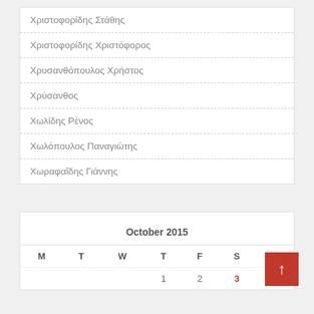Χριστοφορίδης Στάθης
Χριστοφορίδης Χριστόφορος
Χρυσανθόπουλος Χρήστος
Χρύσανθος
Χωλίδης Ρένος
Χωλόπουλος Παναγιώτης
Χωραφαΐδης Γιάννης
October 2015
| M | T | W | T | F | S | S |
| --- | --- | --- | --- | --- | --- | --- |
|  |  |  | 1 | 2 | 3 | 4 |